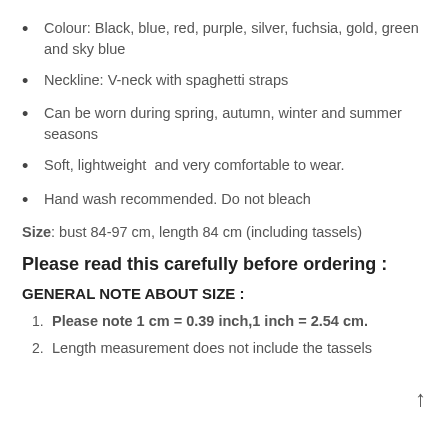Colour: Black, blue, red, purple, silver, fuchsia, gold, green and sky blue
Neckline: V-neck with spaghetti straps
Can be worn during spring, autumn, winter and summer seasons
Soft, lightweight  and very comfortable to wear.
Hand wash recommended. Do not bleach
Size: bust 84-97 cm, length 84 cm (including tassels)
Please read this carefully before ordering :
GENERAL NOTE ABOUT SIZE :
Please note 1 cm = 0.39 inch,1 inch = 2.54 cm.
Length measurement does not include the tassels